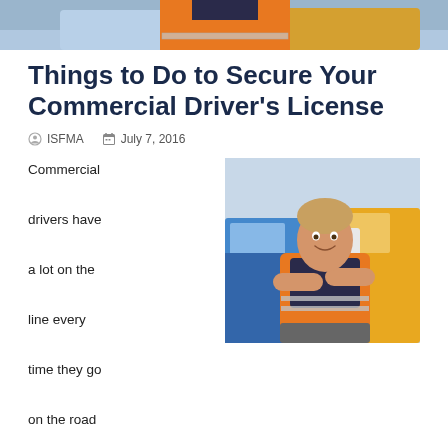[Figure (photo): Top portion of image showing a person in an orange vest near trucks, cropped at the top of the page]
Things to Do to Secure Your Commercial Driver's License
ISFMA   July 7, 2016
[Figure (photo): A smiling man in an orange safety vest standing with arms crossed in front of blue and yellow trucks]
Commercial drivers have a lot on the line every time they go on the road because this is their livelihood. They need to be as careful as possible to be safe and away from accidents or else, there's a chance that their professional license would be taken away from them.